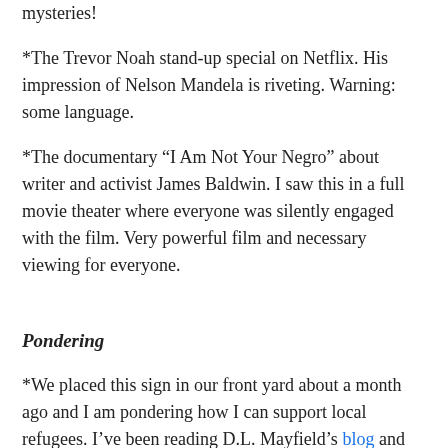mysteries!
*The Trevor Noah stand-up special on Netflix. His impression of Nelson Mandela is riveting. Warning: some language.
*The documentary “I Am Not Your Negro” about writer and activist James Baldwin. I saw this in a full movie theater where everyone was silently engaged with the film. Very powerful film and necessary viewing for everyone.
Pondering
*We placed this sign in our front yard about a month ago and I am pondering how I can support local refugees. I’ve been reading D.L. Mayfield’s blog and she offers many suggestions for developing friendships and supporting